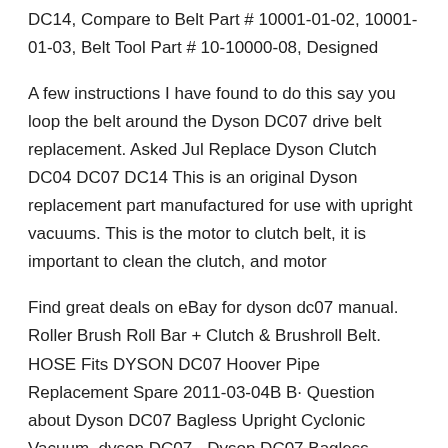DC14, Compare to Belt Part # 10001-01-02, 10001-01-03, Belt Tool Part # 10-10000-08, Designed
A few instructions I have found to do this say you loop the belt around the Dyson DC07 drive belt replacement. Asked Jul Replace Dyson Clutch DC04 DC07 DC14 This is an original Dyson replacement part manufactured for use with upright vacuums. This is the motor to clutch belt, it is important to clean the clutch, and motor
Find great deals on eBay for dyson dc07 manual. Roller Brush Roll Bar + Clutch & Brushroll Belt. HOSE Fits DYSON DC07 Hoover Pipe Replacement Spare 2011-03-04B B· Question about Dyson DC07 Bagless Upright Cyclonic Vacuum. dyson DC07 - Dyson DC07 Bagless Upright Cyclonic DC07 manual dyson dc07 belt replacement
Find great deals for Genuine OEM Dyson Dc07 Dc14 Dc33